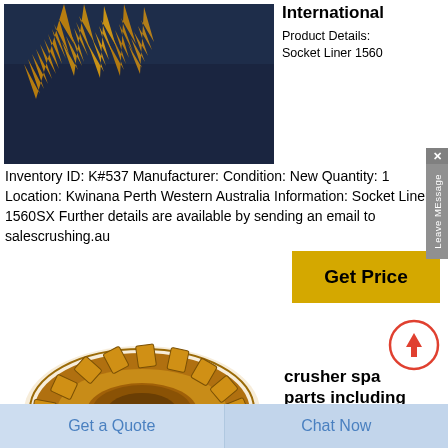[Figure (photo): Gold/bronze colored industrial gear or crusher part with flame-like teeth against dark blue background]
International
Product Details: Socket Liner 1560
Inventory ID: K#537 Manufacturer: Condition: New Quantity: 1 Location: Kwinana Perth Western Australia Information: Socket Liner 1560SX Further details are available by sending an email to salescrushing.au
[Figure (illustration): Button labeled Get Price with gold/yellow background]
[Figure (photo): Bronze/gold circular crusher socket liner part viewed from above]
crusher spa parts including
Crusher Spare Parts Including  2021-8-24
[Figure (other): Scroll to top circular arrow button with red/orange border]
Get a Quote  Chat Now